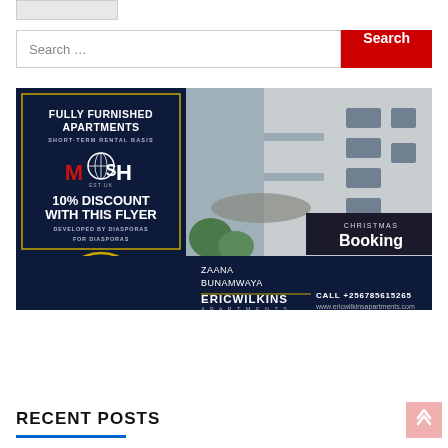[Figure (screenshot): Top bar with a grey button/image element at the top left]
Search …
[Figure (illustration): Advertisement for Eric Wilkins Apartments: fully furnished apartments on short-term rental basis, 10% discount with this flyer, developed by Diasporas for Diasporas, perfect for short stay holidays, Christmas Booking, Zaana Bunamwaya, CALL +256785615265, www.ericwilkinsapartments.com]
RECENT POSTS